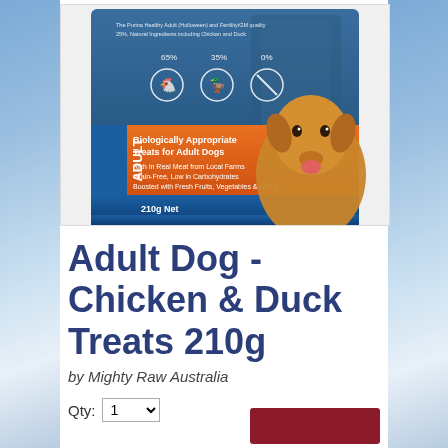[Figure (photo): Product package of Mighty Raw Australia Adult Dog Chicken & Duck Treats 210g. Package shows a golden retriever, orange and blue branding, '65% 35% 0%' ingredient ratios with icons, text 'Biologically Appropriate Treats for Adult Dogs', '210g Net'.]
Adult Dog - Chicken & Duck Treats 210g
by Mighty Raw Australia
Qty: 1